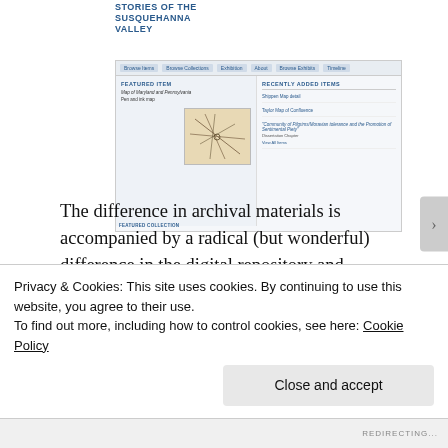STORIES OF THE SUSQUEHANNA VALLEY
[Figure (screenshot): Screenshot of a digital repository website showing Featured Item (Map of Maryland and Pennsylvania) and Recently Added Items (Shippen Map detail, Taylor Map of Confluence, 'Community of Pilgrims/Moravian tolerance and the Promotion of Sentimental Piety' - Dissertation Chapter, View All Items)]
The difference in archival materials is accompanied by a radical (but wonderful) difference in the digital repository and transcription and mark up platform we are using. Over the winter break, there were two developments that have made for much smoother sailing this semester. One, we were able to finalize the Omeka instance at
Privacy & Cookies: This site uses cookies. By continuing to use this website, you agree to their use.
To find out more, including how to control cookies, see here: Cookie Policy
Close and accept